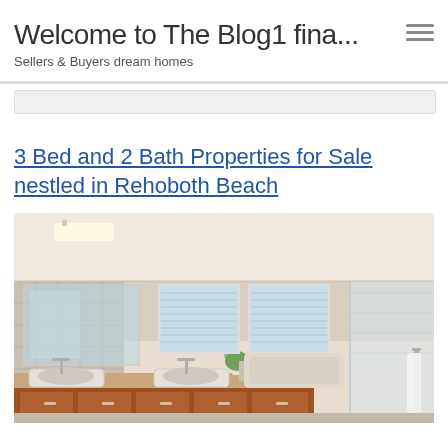Welcome to The Blog1 fina...
Sellers & Buyers dream homes
3 Bed and 2 Bath Properties for Sale nestled in Rehoboth Beach
[Figure (photo): Interior bathroom photo showing double vanity with undermount sinks, wood cabinetry, large mirror, white shuttered windows, bathtub, and glass shower enclosure with white towel]